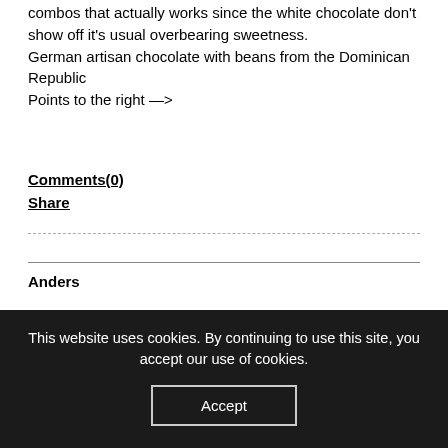combos that actually works since the white chocolate don't show off it's usual overbearing sweetness.
German artisan chocolate with beans from the Dominican Republic
Points to the right —>
Comments(0)
Share
Anders
This website uses cookies. By continuing to use this site, you accept our use of cookies.
Accept